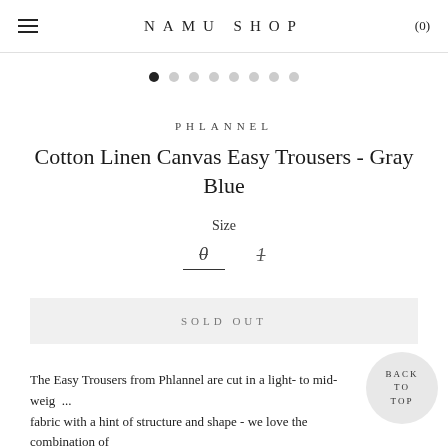NAMU SHOP (0)
[Figure (other): Image carousel dot navigation: one filled black dot followed by seven light gray dots]
PHLANNEL
Cotton Linen Canvas Easy Trousers - Gray Blue
Size
0  1
SOLD OUT
BACK TO TOP
The Easy Trousers from Phlannel are cut in a light- to mid-weigh... fabric with a hint of structure and shape - we love the combination of